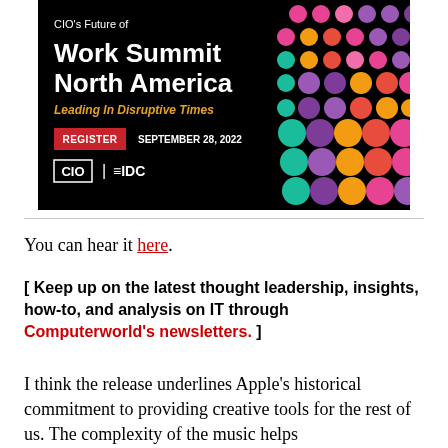[Figure (illustration): CIO's Future of Work Summit North America ad banner with colorful dots on black background. Text: CIO's Future of Work Summit North America, Leading in Disruptive Times, REGISTER, SEPTEMBER 28, 2022, CIO | IDC logos.]
You can hear it here.
[ Keep up on the latest thought leadership, insights, how-to, and analysis on IT through Computerworld's newsletters. ]
I think the release underlines Apple's historical commitment to providing creative tools for the rest of us. The complexity of the music helps